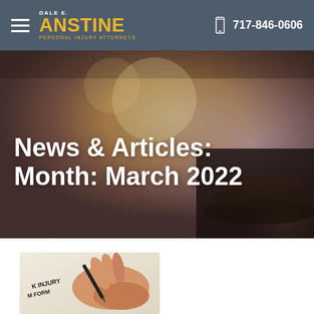Dale E. Anstine Personal Injury Attorneys | 717-846-0606
News & Articles: Month: March 2022
[Figure (photo): Blurred background image showing a gavel and legal setting with golden bokeh lighting]
[Figure (photo): Hand holding a pen over a work injury claim form]